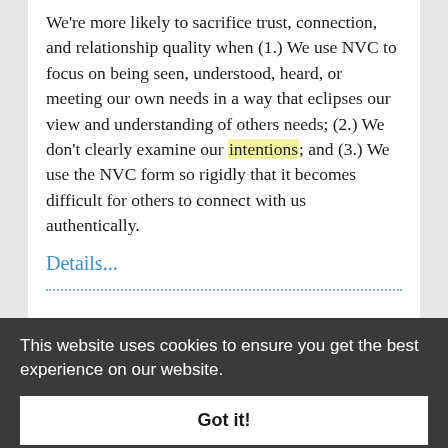We're more likely to sacrifice trust, connection, and relationship quality when (1.) We use NVC to focus on being seen, understood, heard, or meeting our own needs in a way that eclipses our view and understanding of others needs; (2.) We don't clearly examine our intentions; and (3.) We use the NVC form so rigidly that it becomes difficult for others to connect with us authentically.
Details...
This website uses cookies to ensure you get the best experience on our website.
Got it!